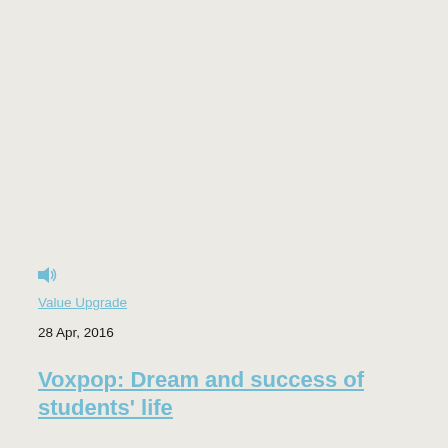[Figure (other): Speaker/audio icon in light blue]
Value Upgrade
28 Apr, 2016
Voxpop: Dream and success of students' life